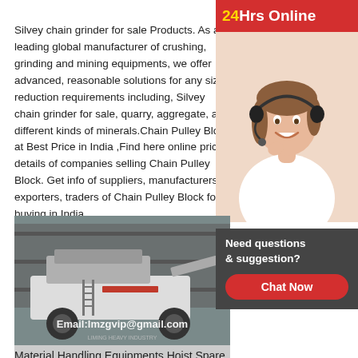Silvey chain grinder for sale Products. As a leading global manufacturer of crushing, grinding and mining equipments, we offer advanced, reasonable solutions for any size-reduction requirements including, Silvey chain grinder for sale, quarry, aggregate, and different kinds of minerals.Chain Pulley Block at Best Price in India ,Find here online price details of companies selling Chain Pulley Block. Get info of suppliers, manufacturers, exporters, traders of Chain Pulley Block for buying in India.
[Figure (photo): Customer service agent (woman with headset smiling) with red banner saying '24Hrs Online']
[Figure (photo): Mobile crushing/mining machine parked in front of a building. Text overlay: Email:lmzgvip@gmail.com and LIMING HEAVY INDUSTRY]
Need questions & suggestion?
Chat Now
Material Handling Equipments Hoist Spare Parts Service